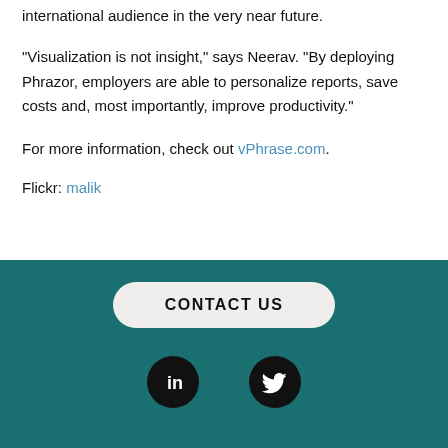international audience in the very near future.
“Visualization is not insight,” says Neerav. “By deploying Phrazor, employers are able to personalize reports, save costs and, most importantly, improve productivity.”
For more information, check out vPhrase.com.
Flickr: malik
CONTACT US
[Figure (logo): LinkedIn icon - white 'in' on black circle]
[Figure (logo): Twitter bird icon on black circle]